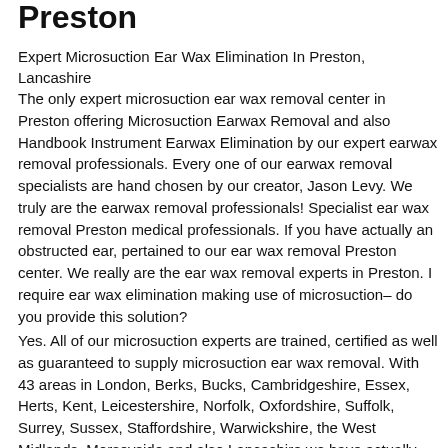Preston
Expert Microsuction Ear Wax Elimination In Preston, Lancashire
The only expert microsuction ear wax removal center in Preston offering Microsuction Earwax Removal and also Handbook Instrument Earwax Elimination by our expert earwax removal professionals. Every one of our earwax removal specialists are hand chosen by our creator, Jason Levy. We truly are the earwax removal professionals! Specialist ear wax removal Preston medical professionals. If you have actually an obstructed ear, pertained to our ear wax removal Preston center. We really are the ear wax removal experts in Preston. I require ear wax elimination making use of microsuction– do you provide this solution?
Yes. All of our microsuction experts are trained, certified as well as guaranteed to supply microsuction ear wax removal. With 43 areas in London, Berks, Bucks, Cambridgeshire, Essex, Herts, Kent, Leicestershire, Norfolk, Oxfordshire, Suffolk, Surrey, Sussex, Staffordshire, Warwickshire, the West Midlands, Merseyside and also Lancashire we have actually obtained you covered!